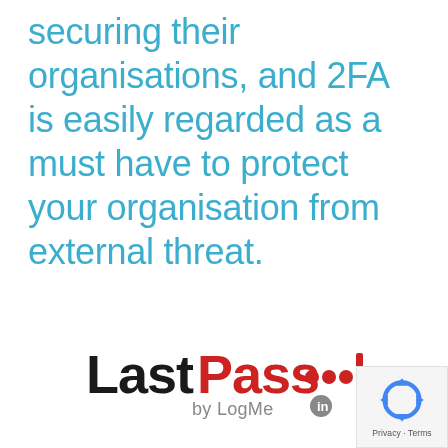securing their organisations, and 2FA is easily regarded as a must have to protect your organisation from external threat.
[Figure (logo): LastPass by LogMeIn logo — 'Last' in black bold, 'Pass' in red bold, three red dots and a vertical red bar, 'by LogMeIn' in gray below]
[Figure (other): Google reCAPTCHA privacy badge with recycling-arrow icon and 'Privacy · Terms' text]